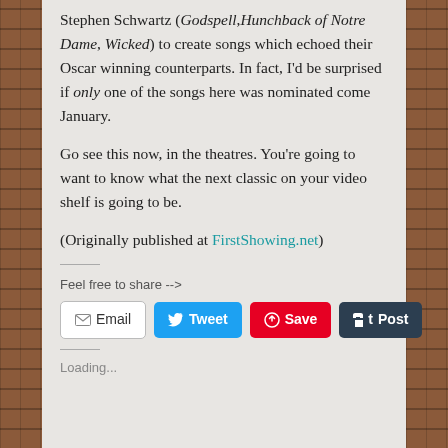Stephen Schwartz (Godspell, Hunchback of Notre Dame, Wicked) to create songs which echoed their Oscar winning counterparts. In fact, I'd be surprised if only one of the songs here was nominated come January.
Go see this now, in the theatres. You're going to want to know what the next classic on your video shelf is going to be.
(Originally published at FirstShowing.net)
Feel free to share -->
Loading...